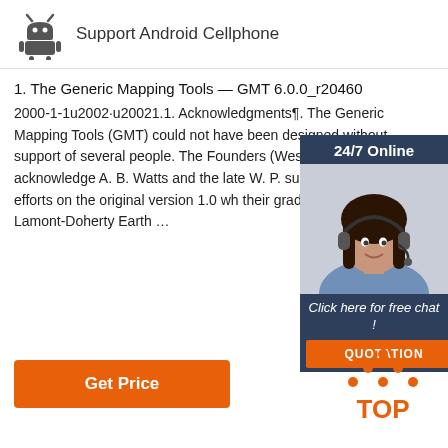Support Android Cellphone
1. The Generic Mapping Tools — GMT 6.0.0_r20460
2000-1-1u2002·u20021.1. Acknowledgments¶. The Generic Mapping Tools (GMT) could not have been designed without support of several people. The Founders (Wessel and gratefully acknowledge A. B. Watts and the late W. P. supporting their efforts on the original version 1.0 wh their graduate students at Lamont-Doherty Earth …
[Figure (other): 24/7 Online chat widget with photo of woman in headset, click here for free chat, and QUOTATION button]
[Figure (other): Get Price orange button]
[Figure (logo): TOP icon with dots arranged in triangle above the text TOP in orange]